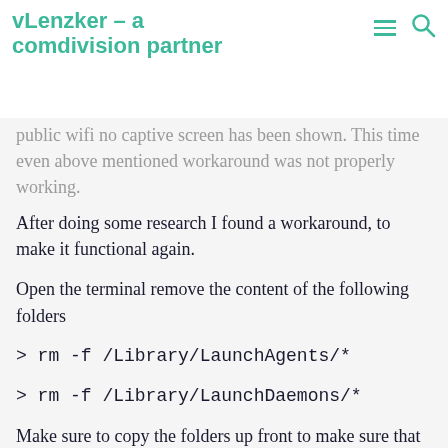vLenzker – a comdivision partner
public wifi no captive screen has been shown. This time even above mentioned workaround was not properly working.
After doing some research I found a workaround, to make it functional again.
Open the terminal remove the content of the following folders
> rm -f /Library/LaunchAgents/*
> rm -f /Library/LaunchDaemons/*
Make sure to copy the folders up front to make sure that in a case of problems afterwards, you are able to restore them.